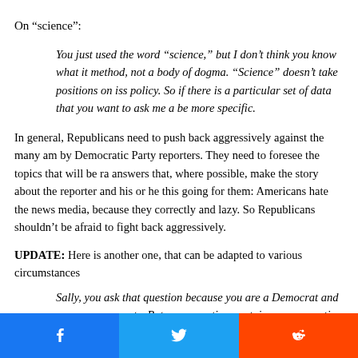On “science”:
You just used the word “science,” but I don’t think you know what it method, not a body of dogma. “Science” doesn’t take positions on iss policy. So if there is a particular set of data that you want to ask me a be more specific.
In general, Republicans need to push back aggressively against the many am by Democratic Party reporters. They need to foresee the topics that will be ra answers that, where possible, make the story about the reporter and his or he this going for them: Americans hate the news media, because they correctly and lazy. So Republicans shouldn’t be afraid to fight back aggressively.
UPDATE: Here is another one, that can be adapted to various circumstances
Sally, you ask that question because you are a Democrat and you are your party. But your question contains an assumption that isn’t true.…
[Figure (infographic): Social media sharing buttons: Facebook (blue), Twitter (blue), Reddit (orange-red)]